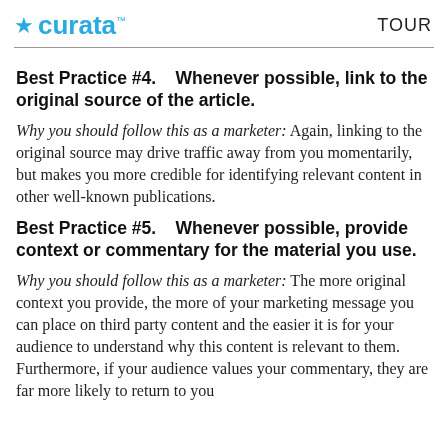curata  TOUR
Best Practice #4.    Whenever possible, link to the original source of the article.
Why you should follow this as a marketer: Again, linking to the original source may drive traffic away from you momentarily, but makes you more credible for identifying relevant content in other well-known publications.
Best Practice #5.    Whenever possible, provide context or commentary for the material you use.
Why you should follow this as a marketer: The more original context you provide, the more of your marketing message you can place on third party content and the easier it is for your audience to understand why this content is relevant to them.  Furthermore, if your audience values your commentary, they are far more likely to return to you